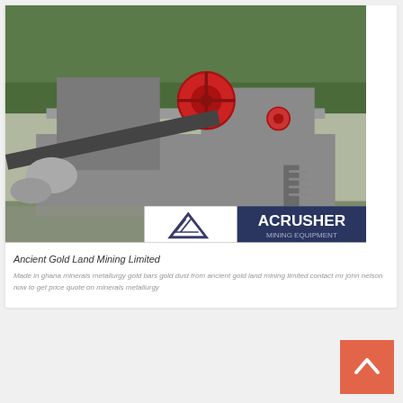[Figure (illustration): Live Chat button — teal circle with LIVE CHAT text and dark navy speech bubble]
[Figure (photo): Mining equipment machinery on a platform, with a large red flywheel, conveyor belt, rocks, and ACRUSHER MINING EQUIPMENT branding overlay at the bottom]
Ancient Gold Land Mining Limited
Made in ghana minerals metallurgy gold bars gold dust from ancient gold land mining limited contact mr john nelson now to get price quote on minerals metallurgy
[Figure (illustration): Orange/coral scroll-to-top button with white upward chevron arrow]